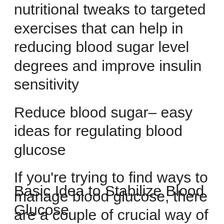nutritional tweaks to targeted exercises that can help in reducing blood sugar level degrees and improve insulin sensitivity
Reduce blood sugar– easy ideas for regulating blood glucose
If you're trying to find ways to manage blood glucose, there are a couple of crucial way of living modifications you can make From simple nutritional tweaks to including more motion into your day, these 7 suggestions will aid you start on the path to better blood sugar control
Basic Idea to Stabilize Blood Glucose